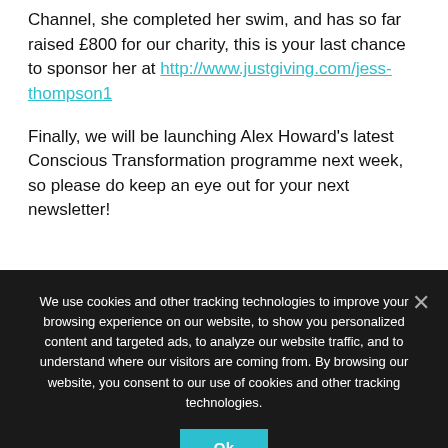just for her swimming the length of the English Channel, she completed her swim, and has so far raised £800 for our charity, this is your last chance to sponsor her at http://www.justgiving.com/jess-thompson1
Finally, we will be launching Alex Howard's latest Conscious Transformation programme next week, so please do keep an eye out for your next newsletter!
We use cookies and other tracking technologies to improve your browsing experience on our website, to show you personalized content and targeted ads, to analyze our website traffic, and to understand where our visitors are coming from. By browsing our website, you consent to our use of cookies and other tracking technologies.